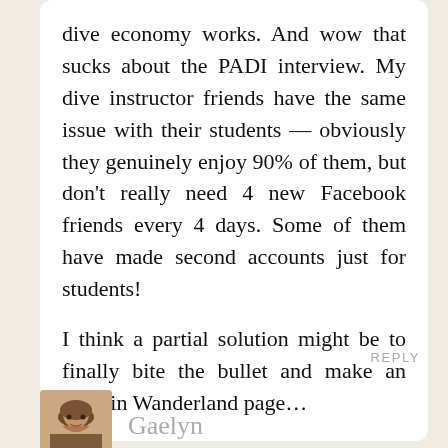dive economy works. And wow that sucks about the PADI interview. My dive instructor friends have the same issue with their students — obviously they genuinely enjoy 90% of them, but don't really need 4 new Facebook friends every 4 days. Some of them have made second accounts just for students!

I think a partial solution might be to finally bite the bullet and make an Alex in Wanderland page…
REPLY
Gaelyn